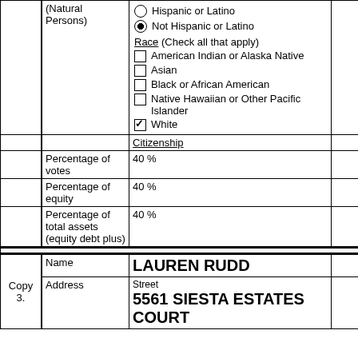| (Natural Persons) | Hispanic or Latino / Not Hispanic or Latino (selected) / Race (Check all that apply): American Indian or Alaska Native, Asian, Black or African American, Native Hawaiian or Other Pacific Islander, White (checked) / Citizenship |  |
|  | Percentage of votes | 40 % |  |
|  | Percentage of equity | 40 % |  |
|  | Percentage of total assets (equity debt plus) | 40 % |  |
| Copy 3. | Name | LAUREN RUDD |  |
|  | Address | Street
5561 SIESTA ESTATES COURT |  |